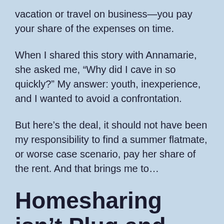vacation or travel on business—you pay your share of the expenses on time.
When I shared this story with Annamarie, she asked me, “Why did I cave in so quickly?” My answer: youth, inexperience, and I wanted to avoid a confrontation.
But here’s the deal, it should not have been my responsibility to find a summer flatmate, or worse case scenario, pay her share of the rent. And that brings me to…
Homesharing isn’t Plug and Play